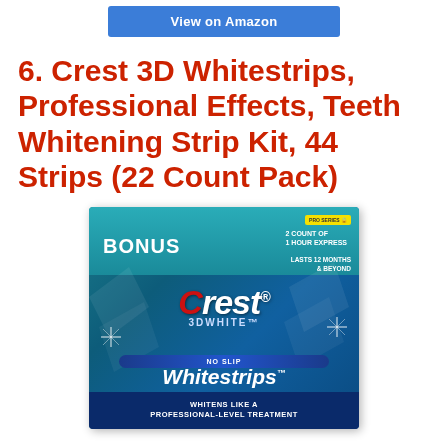[Figure (screenshot): Blue 'View on Amazon' button at top of page]
6. Crest 3D Whitestrips, Professional Effects, Teeth Whitening Strip Kit, 44 Strips (22 Count Pack)
[Figure (photo): Crest 3D White Whitestrips Professional Effects product box. Teal/blue box showing BONUS label, 2 Count of 1 Hour Express, Lasts 12 Months & Beyond, No Slip Whitestrips Dental Whitening Kit, Enamel Safe, Professional Effects, Whitens Like A Professional-Level Treatment.]